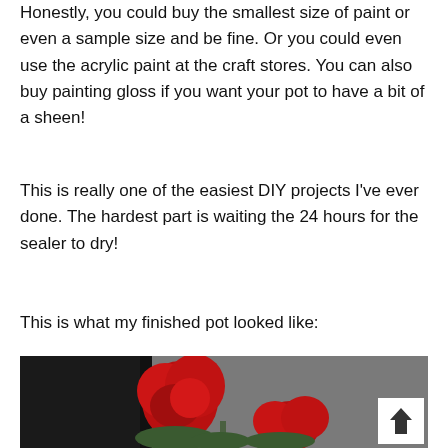Honestly, you could buy the smallest size of paint or even a sample size and be fine. Or you could even use the acrylic paint at the craft stores. You can also buy painting gloss if you want your pot to have a bit of a sheen!
This is really one of the easiest DIY projects I've ever done. The hardest part is waiting the 24 hours for the sealer to dry!
This is what my finished pot looked like:
[Figure (photo): Photo of a finished painted pot with red geranium flowers against a dark background, with a white scroll-to-top button overlay in the bottom right]